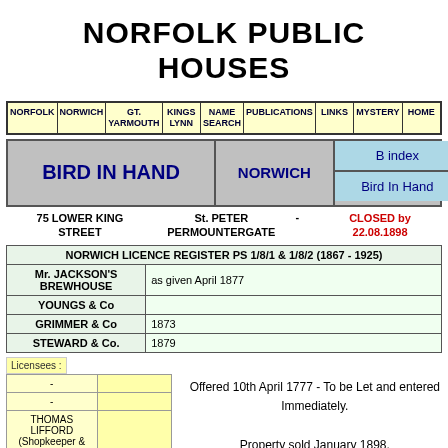NORFOLK PUBLIC HOUSES
| NORFOLK | NORWICH | GT. YARMOUTH | KINGS LYNN | NAME SEARCH | PUBLICATIONS | LINKS | MYSTERY | HOME |
| --- | --- | --- | --- | --- | --- | --- | --- | --- |
| BIRD IN HAND | NORWICH | B index / Bird In Hand |
| --- | --- | --- |
75 LOWER KING STREET   St. PETER PERMOUNTERGATE   -   CLOSED by 22.08.1898
| NORWICH LICENCE REGISTER PS 1/8/1 & 1/8/2 (1867 - 1925) |
| --- |
| Mr. JACKSON'S BREWHOUSE | as given April 1877 |
| YOUNGS & Co |  |
| GRIMMER & Co | 1873 |
| STEWARD & Co. | 1879 |
Licensees :
| - |  |
| --- | --- |
| - |  |
| THOMAS LIFFORD (Shopkeeper & |  |
Offered 10th April 1777 - To be Let and entered Immediately.

Property sold January 1898.